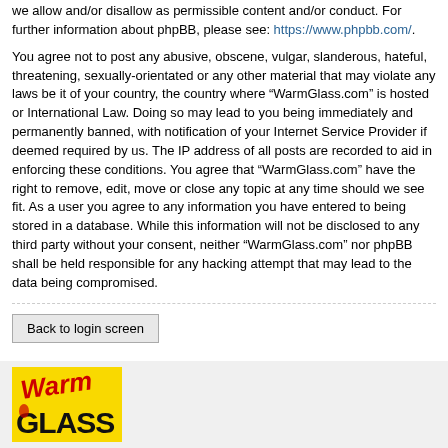we allow and/or disallow as permissible content and/or conduct. For further information about phpBB, please see: https://www.phpbb.com/.
You agree not to post any abusive, obscene, vulgar, slanderous, hateful, threatening, sexually-orientated or any other material that may violate any laws be it of your country, the country where “WarmGlass.com” is hosted or International Law. Doing so may lead to you being immediately and permanently banned, with notification of your Internet Service Provider if deemed required by us. The IP address of all posts are recorded to aid in enforcing these conditions. You agree that “WarmGlass.com” have the right to remove, edit, move or close any topic at any time should we see fit. As a user you agree to any information you have entered to being stored in a database. While this information will not be disclosed to any third party without your consent, neither “WarmGlass.com” nor phpBB shall be held responsible for any hacking attempt that may lead to the data being compromised.
Back to login screen
[Figure (logo): WarmGlass logo on yellow background with red script 'Warm' and black bold 'GLASS']
2575 Old Glory Road, Suite 700
Suite 700
Clemmons, NC 27012